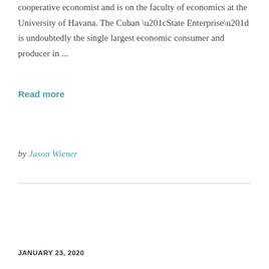cooperative economist and is on the faculty of economics at the University of Havana. The Cuban “State Enterprise” is undoubtedly the single largest economic consumer and producer in ...
Read more
by Jason Wiener
JANUARY 23, 2020